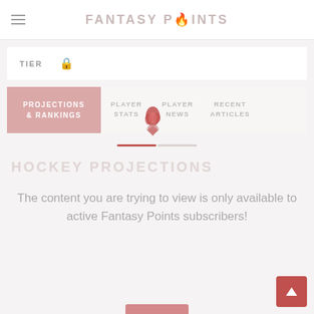FANTASY POINTS
TIER
PROJECTIONS & RANKINGS | PLAYER STATS | PLAYER NEWS | RECENT ARTICLES
[Figure (logo): Fantasy Points flame and location pin icon overlay]
HOCKEY PROJECTIONS
The content you are trying to view is only available to active Fantasy Points subscribers!